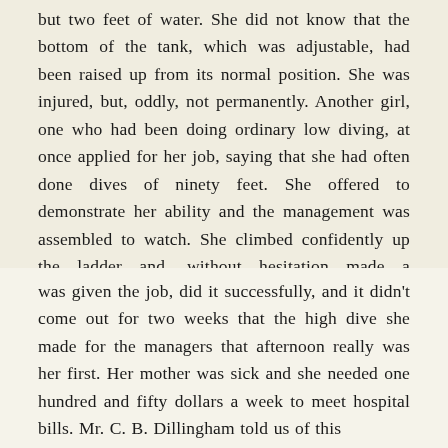but two feet of water. She did not know that the bottom of the tank, which was adjustable, had been raised up from its normal position. She was injured, but, oddly, not permanently. Another girl, one who had been doing ordinary low diving, at once applied for her job, saying that she had often done dives of ninety feet. She offered to demonstrate her ability and the management was assembled to watch. She climbed confidently up the ladder and, without hesitation made a successful and graceful plunge. She
was given the job, did it successfully, and it didn't come out for two weeks that the high dive she made for the managers that afternoon really was her first. Her mother was sick and she needed one hundred and fifty dollars a week to meet hospital bills. Mr. C. B. Dillingham told us of this